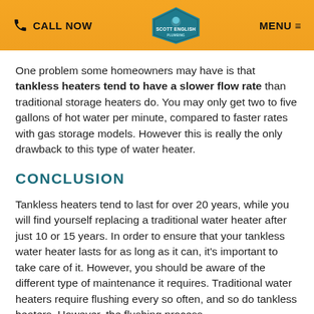CALL NOW | SCOTT ENGLISH | MENU
One problem some homeowners may have is that tankless heaters tend to have a slower flow rate than traditional storage heaters do. You may only get two to five gallons of hot water per minute, compared to faster rates with gas storage models. However this is really the only drawback to this type of water heater.
CONCLUSION
Tankless heaters tend to last for over 20 years, while you will find yourself replacing a traditional water heater after just 10 or 15 years. In order to ensure that your tankless water heater lasts for as long as it can, it's important to take care of it. However, you should be aware of the different type of maintenance it requires. Traditional water heaters require flushing every so often, and so do tankless heaters. However, the flushing process